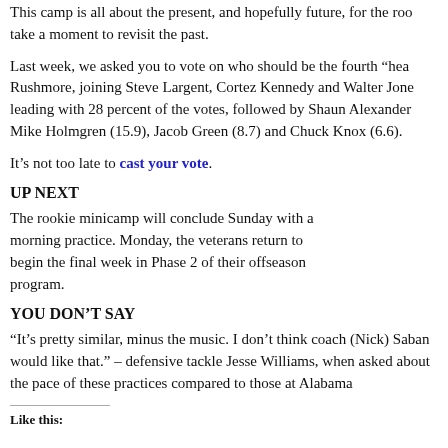This camp is all about the present, and hopefully future, for the roo take a moment to revisit the past.
Last week, we asked you to vote on who should be the fourth “heac Rushmore, joining Steve Largent, Cortez Kennedy and Walter Jone leading with 28 percent of the votes, followed by Shaun Alexander Mike Holmgren (15.9), Jacob Green (8.7) and Chuck Knox (6.6).
It’s not too late to cast your vote.
UP NEXT
The rookie minicamp will conclude Sunday with a morning practice. Monday, the veterans return to begin the final week in Phase 2 of their offseason program.
YOU DON’T SAY
“It’s pretty similar, minus the music. I don’t think coach (Nick) Saban would like that.” – defensive tackle Jesse Williams, when asked about the pace of these practices compared to those at Alabama
Like this: